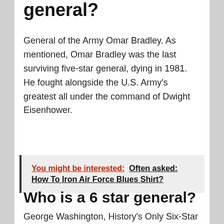general?
General of the Army Omar Bradley. As mentioned, Omar Bradley was the last surviving five-star general, dying in 1981. He fought alongside the U.S. Army's greatest all under the command of Dwight Eisenhower.
You might be interested:  Often asked: How To Iron Air Force Blues Shirt?
Who is a 6 star general?
George Washington, History's Only Six-Star General ( ...